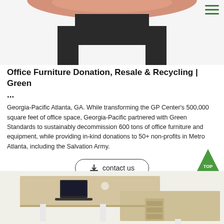[Figure (photo): Top portion of a dark-colored office desk with rounded black top and dark base, cropped at top]
Office Furniture Donation, Resale & Recycling | Green ...
Georgia-Pacific Atlanta, GA. While transforming the GP Center's 500,000 square feet of office space, Georgia-Pacific partnered with Green Standards to sustainably decommission 600 tons of office furniture and equipment, while providing in-kind donations to 50+ non-profits in Metro Atlanta, including the Salvation Army.
[Figure (other): Contact us button with download icon and rounded rectangle border]
[Figure (other): Green triangle TOP button in bottom right corner]
[Figure (photo): Light wood L-shaped office desk with white metal legs, laptop and items on top, bottom portion cropped]